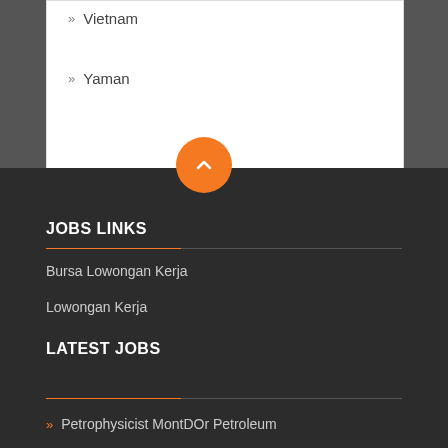» Vietnam
» Yaman
[Figure (other): Orange circular back-to-top button with upward chevron arrow]
JOBS LINKS
Bursa Lowongan Kerja
Lowongan Kerja
LATEST JOBS
» Petrophysicist MontDOr Petroleum